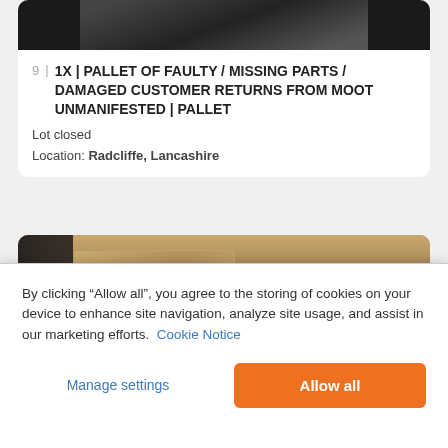[Figure (photo): Partial top image of items, dark background, top of auction listing card]
9 | 1X | PALLET OF FAULTY / MISSING PARTS / DAMAGED CUSTOMER RETURNS FROM MOOT UNMANIFESTED | PALLET
Lot closed
Location: Radcliffe, Lancashire
[Figure (photo): Warehouse photo showing plastic-wrapped pallets on a forklift in a storage facility]
By clicking “Allow all”, you agree to the storing of cookies on your device to enhance site navigation, analyze site usage, and assist in our marketing efforts. Cookie Notice
Manage settings
Allow all